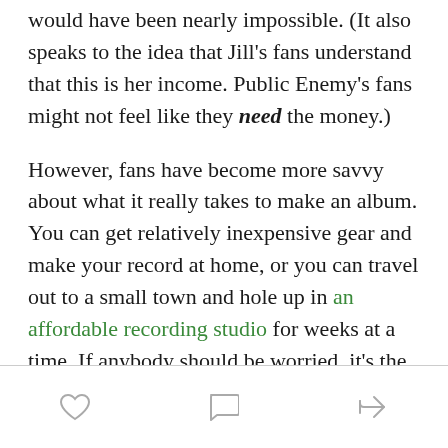would have been nearly impossible. (It also speaks to the idea that Jill's fans understand that this is her income. Public Enemy's fans might not feel like they need the money.)
However, fans have become more savvy about what it really takes to make an album. You can get relatively inexpensive gear and make your record at home, or you can travel out to a small town and hole up in an affordable recording studio for weeks at a time. If anybody should be worried, it's the folks who own really expensive recording studios in places like New York and Los Angeles.
[heart icon] [comment icon] [share icon]